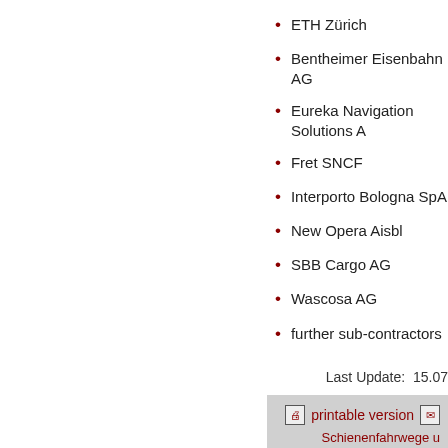ETH Zürich
Bentheimer Eisenbahn AG
Eureka Navigation Solutions A…
Fret SNCF
Interporto Bologna SpA
New Opera Aisbl
SBB Cargo AG
Wascosa AG
further sub-contractors
Last Update:  15.07
printable version
Schienenfahrwege u…
Bahnbetr…
Contact   Impressum   Sitem…
Deutsch   Index…
Z   Mobil   Datenschutz…